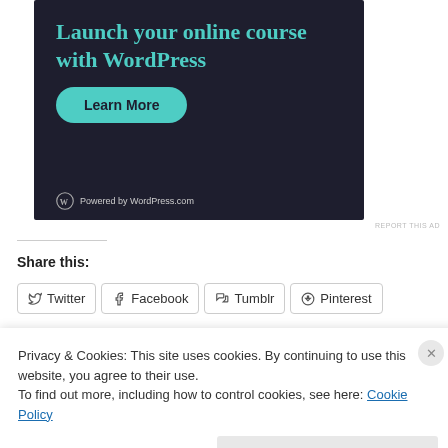[Figure (illustration): Dark-themed ad banner for WordPress.com: 'Launch your online course with WordPress' with a teal 'Learn More' button and 'Powered by WordPress.com' footer logo.]
REPORT THIS AD
Share this:
Twitter  Facebook  Tumblr  Pinterest
Privacy & Cookies: This site uses cookies. By continuing to use this website, you agree to their use.
To find out more, including how to control cookies, see here: Cookie Policy
Close and accept